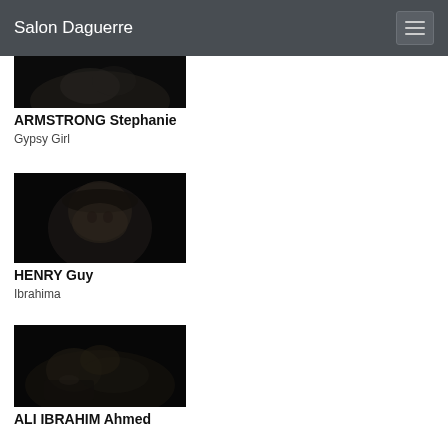Salon Daguerre
[Figure (photo): Black and white photograph, partially visible at top of page]
ARMSTRONG Stephanie
Gypsy Girl
[Figure (photo): Black and white portrait of a man wearing a hat, looking at camera]
HENRY Guy
Ibrahima
[Figure (photo): Black and white photograph of a person sitting]
ALI IBRAHIM Ahmed